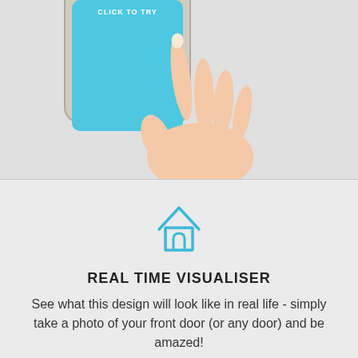[Figure (illustration): A hand pointing/touching a smartphone screen that shows a blue screen with 'CLICK TO TRY' text. The phone has rounded corners and a bezel. A hand with index finger pointing is overlaid on the right side.]
[Figure (illustration): A simple light blue outline icon of a house/home symbol]
REAL TIME VISUALISER
See what this design will look like in real life - simply take a photo of your front door (or any door) and be amazed!